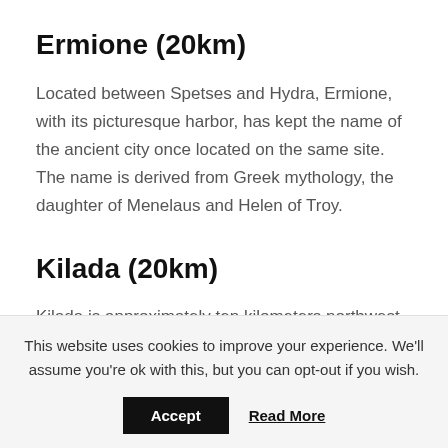Ermione (20km)
Located between Spetses and Hydra, Ermione, with its picturesque harbor, has kept the name of the ancient city once located on the same site. The name is derived from Greek mythology, the daughter of Menelaus and Helen of Troy.
Kilada (20km)
Kilada is approximately ten kilometers northwest of
This website uses cookies to improve your experience. We'll assume you're ok with this, but you can opt-out if you wish.